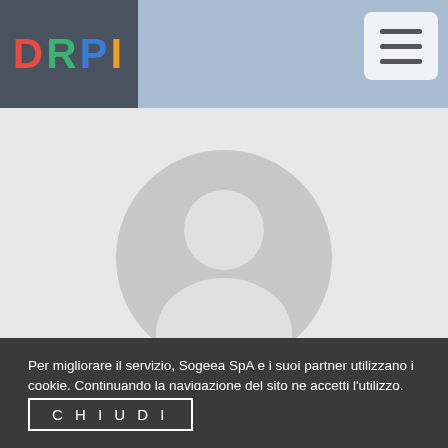[Figure (logo): DRPI logo with colored letters D (red), R (green), P (blue), I (orange) on dark background]
[Figure (illustration): Generic gray user avatar silhouette in a circle]
Salvatore
Thanks for finally talking about > Prova –
Per migliorare il servizio, Sogeea SpA e i suoi partner utilizzano i cookie. Continuando la navigazione del sito ne accetti l'utilizzo.
Se desideri maggiori informazioni leggi la nostra politica in materia di cookie. Per saperne di più
CHIUDI